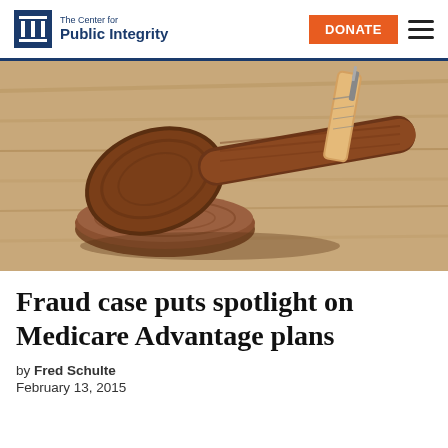The Center for Public Integrity
[Figure (photo): A wooden judge's gavel resting on a sound block on a wooden surface, with a syringe in the background — symbolizing healthcare fraud legal proceedings.]
Fraud case puts spotlight on Medicare Advantage plans
by Fred Schulte
February 13, 2015